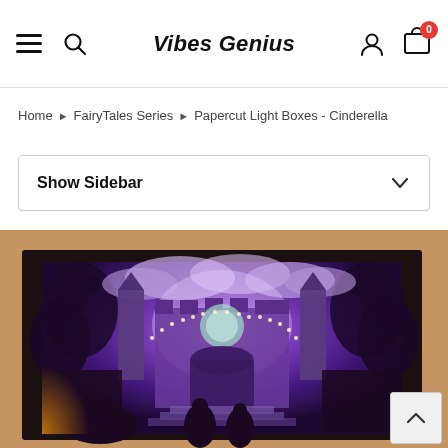Vibes Genius
Home > FairyTales Series > Papercut Light Boxes - Cinderella
Show Sidebar
[Figure (photo): A papercut light box displaying a Cinderella fairy tale scene with purple glowing illumination, showing a castle with towers, ornate gates, and silhouetted figures in the foreground, framed in a dark wooden box.]